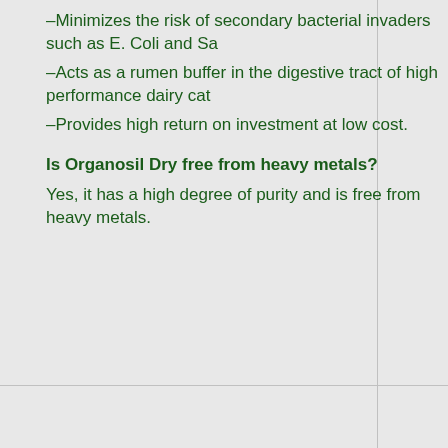–Minimizes the risk of secondary bacterial invaders such as E. Coli and Sa…
–Acts as a rumen buffer in the digestive tract of high performance dairy cat…
–Provides high return on investment at low cost.
Is Organosil Dry free from heavy metals?
Yes, it has a high degree of purity and is free from heavy metals.